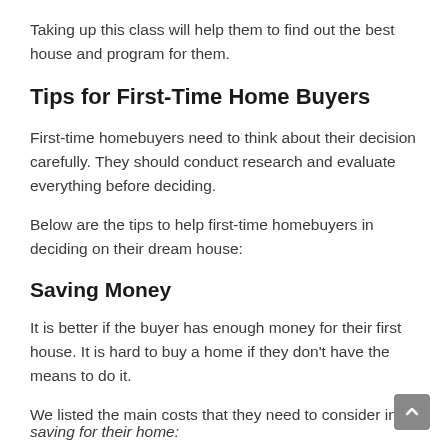Taking up this class will help them to find out the best house and program for them.
Tips for First-Time Home Buyers
First-time homebuyers need to think about their decision carefully. They should conduct research and evaluate everything before deciding.
Below are the tips to help first-time homebuyers in deciding on their dream house:
Saving Money
It is better if the buyer has enough money for their first house. It is hard to buy a home if they don't have the means to do it.
We listed the main costs that they need to consider in saving for their home: